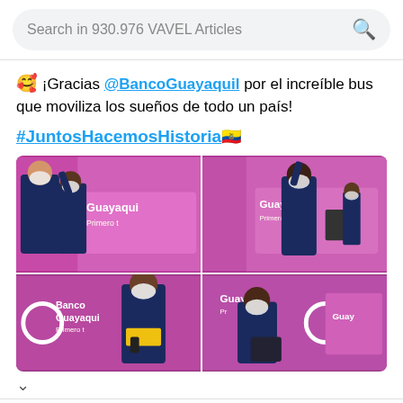Search in 930.976 VAVEL Articles
😊 ¡Gracias @BancoGuayaquil por el increíble bus que moviliza los sueños de todo un país!
#JuntosHacemosHistoria 🇪🇨
[Figure (photo): Four-photo grid showing Ecuador national football team players boarding or standing near a bright pink Banco Guayaquil branded bus. Players wear dark blue team kits and white masks. The bus has 'Guayaquil Primero tú' branding visible in each quadrant photo.]
Get An Oil Change Near You
We Are Your Complete Car Care People. Firestone